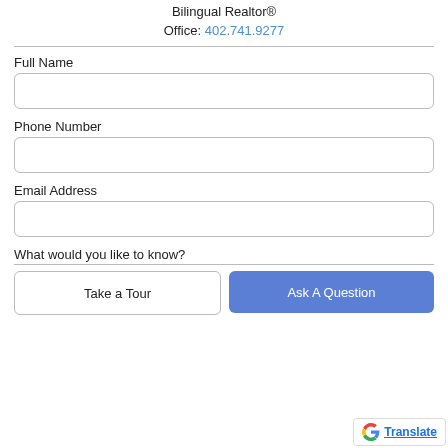Bilingual Realtor®
Office: 402.741.9277
Full Name
Phone Number
Email Address
What would you like to know?
Take a Tour
Ask A Question
Translate